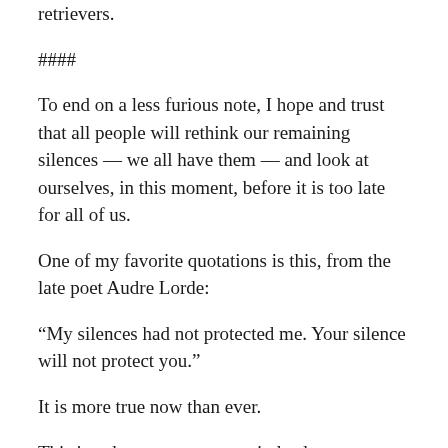retrievers.
####
To end on a less furious note, I hope and trust that all people will rethink our remaining silences — we all have them — and look at ourselves, in this moment, before it is too late for all of us.
One of my favorite quotations is this, from the late poet Audre Lorde:
“My silences had not protected me. Your silence will not protect you.”
It is more true now than ever.
This is a dangerous moment indeed.
But it could also become a moment of profound